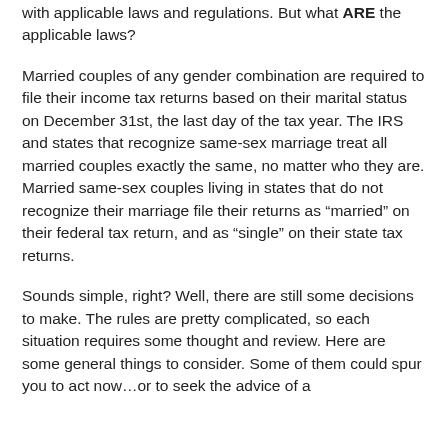with applicable laws and regulations. But what ARE the applicable laws?
Married couples of any gender combination are required to file their income tax returns based on their marital status on December 31st, the last day of the tax year. The IRS and states that recognize same-sex marriage treat all married couples exactly the same, no matter who they are. Married same-sex couples living in states that do not recognize their marriage file their returns as “married” on their federal tax return, and as “single” on their state tax returns.
Sounds simple, right? Well, there are still some decisions to make. The rules are pretty complicated, so each situation requires some thought and review. Here are some general things to consider. Some of them could spur you to act now…or to seek the advice of a